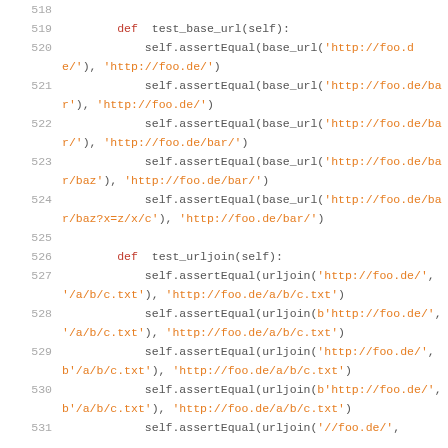[Figure (screenshot): Python source code snippet showing unit test methods test_base_url and test_urljoin with line numbers 518-531]
518
519     def test_base_url(self):
520           self.assertEqual(base_url('http://foo.de/'), 'http://foo.de/')
521           self.assertEqual(base_url('http://foo.de/bar'), 'http://foo.de/')
522           self.assertEqual(base_url('http://foo.de/bar/'), 'http://foo.de/bar/')
523           self.assertEqual(base_url('http://foo.de/bar/baz'), 'http://foo.de/bar/')
524           self.assertEqual(base_url('http://foo.de/bar/baz?x=z/x/c'), 'http://foo.de/bar/')
525
526     def test_urljoin(self):
527           self.assertEqual(urljoin('http://foo.de/', '/a/b/c.txt'), 'http://foo.de/a/b/c.txt')
528           self.assertEqual(urljoin(b'http://foo.de/', '/a/b/c.txt'), 'http://foo.de/a/b/c.txt')
529           self.assertEqual(urljoin('http://foo.de/', b'/a/b/c.txt'), 'http://foo.de/a/b/c.txt')
530           self.assertEqual(urljoin(b'http://foo.de/', b'/a/b/c.txt'), 'http://foo.de/a/b/c.txt')
531           self.assertEqual(urljoin('//foo.de/',